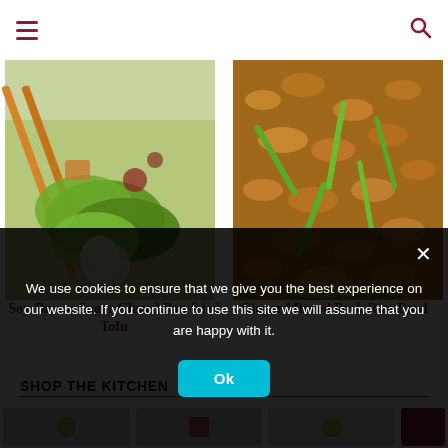Navigation header with hamburger menu and search icon
[Figure (photo): Soy-Brown Sugar Glazed Pan-fried Tofu dish with green vegetables and chopsticks]
[Figure (photo): Ginger Minced Pork Rice Bowl with ground pork and green onions]
Soy-Brown Sugar Glazed Pan-fried Tofu
Ginger Minced Pork Rice Bowl
SHOP THE KITCHEN
[Figure (screenshot): Shop items row partially visible]
We use cookies to ensure that we give you the best experience on our website. If you continue to use this site we will assume that you are happy with it.